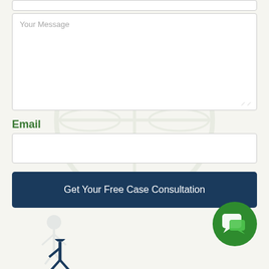[Figure (screenshot): Partial top input field (clipped at top of page)]
Your Message
Email
[Figure (screenshot): Empty email input field]
Get Your Free Case Consultation
[Figure (illustration): Green circle chat bubble icon in bottom right]
[Figure (illustration): Small human figure icon at bottom left (partially visible)]